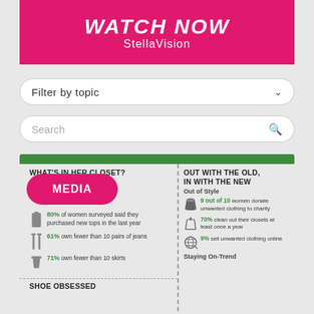WATCH NOW StellaVision
Filter by topic
Search
[Figure (infographic): Infographic showing women's closet statistics with two columns: 'What's in Her Closet?' and 'Out with the Old, In with the New'. Left column shows stats: 80% purchased new tops, 61% own fewer than 10 pairs of jeans, 71% own fewer than 10 skirts. Right column shows: 9 out of 10 women donate unwanted clothing to charity, 70% clean out their closets at least once a year, 9% sell unwanted clothing online. Staying On-Trend section heading visible. Shoe Obsessed section at bottom. MEDIA pill overlay visible.]